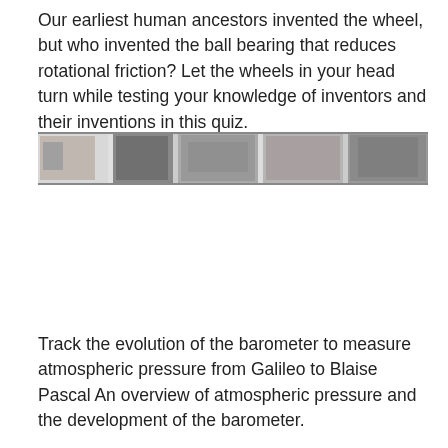Our earliest human ancestors invented the wheel, but who invented the ball bearing that reduces rotational friction? Let the wheels in your head turn while testing your knowledge of inventors and their inventions in this quiz.
[Figure (photo): A horizontal strip of black-and-white photographs showing various inventors and their inventions.]
Track the evolution of the barometer to measure atmospheric pressure from Galileo to Blaise Pascal An overview of atmospheric pressure and the development of the barometer.